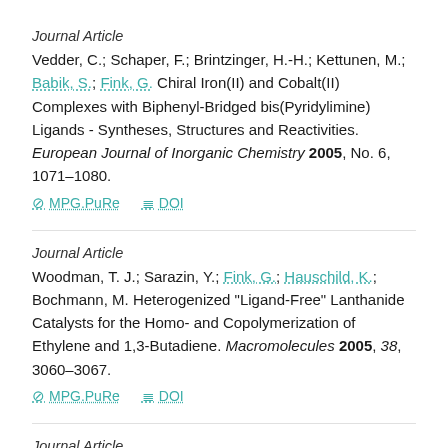Journal Article
Vedder, C.; Schaper, F.; Brintzinger, H.-H.; Kettunen, M.; Babik, S.; Fink, G. Chiral Iron(II) and Cobalt(II) Complexes with Biphenyl-Bridged bis(Pyridylimine) Ligands - Syntheses, Structures and Reactivities. European Journal of Inorganic Chemistry 2005, No. 6, 1071–1080.
⊘ MPG.PuRe   ≣ DOI
Journal Article
Woodman, T. J.; Sarazin, Y.; Fink, G.; Hauschild, K.; Bochmann, M. Heterogenized "Ligand-Free" Lanthanide Catalysts for the Homo- and Copolymerization of Ethylene and 1,3-Butadiene. Macromolecules 2005, 38, 3060–3067.
⊘ MPG.PuRe   ≣ DOI
Journal Article
Woodman, T. J.; Sarazin, Y.; Garratt, S.; Fink, G.; Bochmann,